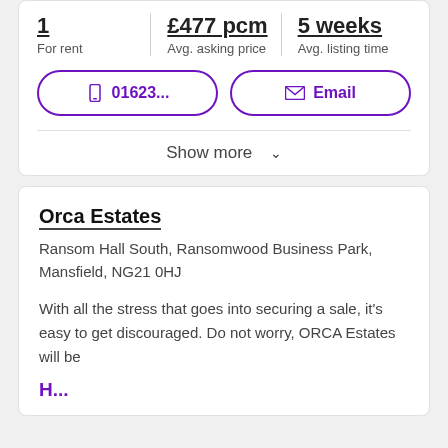1
For rent
£477 pcm
Avg. asking price
5 weeks
Avg. listing time
📱 01623...
✉ Email
Show more ∨
Orca Estates
Ransom Hall South, Ransomwood Business Park, Mansfield, NG21 0HJ
With all the stress that goes into securing a sale, it's easy to get discouraged. Do not worry, ORCA Estates will be
H...